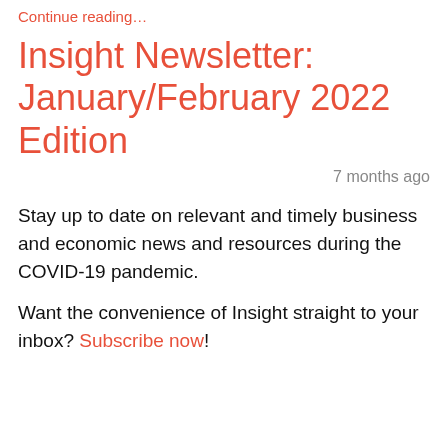Continue reading…
Insight Newsletter: January/February 2022 Edition
7 months ago
Stay up to date on relevant and timely business and economic news and resources during the COVID-19 pandemic.
Want the convenience of Insight straight to your inbox? Subscribe now!